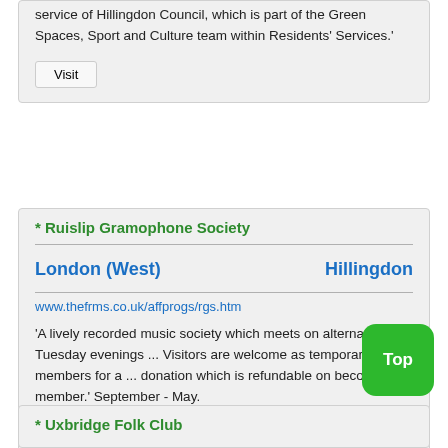service of Hillingdon Council, which is part of the Green Spaces, Sport and Culture team within Residents' Services.'
Visit
* Ruislip Gramophone Society
London (West)    Hillingdon
www.thefrms.co.uk/affprogs/rgs.htm
'A lively recorded music society which meets on alternate Tuesday evenings ... Visitors are welcome as temporary members for a ... donation which is refundable on becoming a member.' September - May.
Visit
* Uxbridge Folk Club